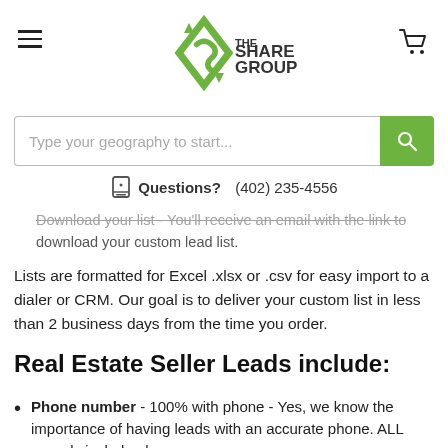The Share Group logo, hamburger menu, cart icon
Type your geography to start...
Questions? (402) 235-4556
Download your list - You'll receive an email with the link to download your custom lead list.
Lists are formatted for Excel .xlsx or .csv for easy import to a dialer or CRM. Our goal is to deliver your custom list in less than 2 business days from the time you order.
Real Estate Seller Leads include:
Phone number - 100% with phone - Yes, we know the importance of having leads with an accurate phone. ALL records include phone.